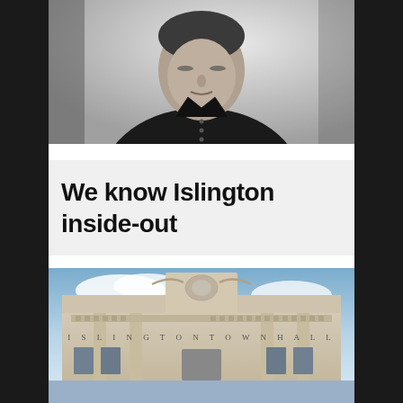[Figure (photo): Black and white portrait photograph of a man wearing a dark polo shirt, upper body visible, neutral expression, light background]
We know Islington inside-out
[Figure (photo): Colour photograph of the facade of Islington Town Hall, a neoclassical stone building with decorative carvings and the inscription 'ISLINGTON TOWN HALL' visible, cloudy sky background]